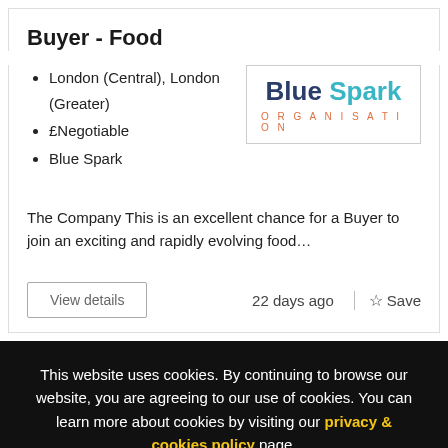Buyer - Food
London (Central), London (Greater)
£Negotiable
Blue Spark
[Figure (logo): Blue Spark Organisation logo with blue and teal text and orange organisation label]
The Company This is an excellent chance for a Buyer to join an exciting and rapidly evolving food…
View details    22 days ago  ☆ Save
This website uses cookies. By continuing to browse our website, you are agreeing to our use of cookies. You can learn more about cookies by visiting our privacy & cookies policy page.
I Agree